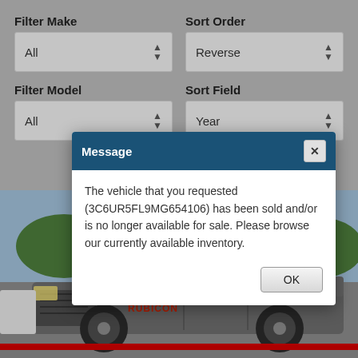Filter Make
All
Sort Order
Reverse
Filter Model
All
Sort Field
Year
Message
The vehicle that you requested (3C6UR5FL9MG654106) has been sold and/or is no longer available for sale. Please browse our currently available inventory.
OK
5014
[Figure (photo): Jeep Gladiator truck at a car dealership lot with colorful balloons and flags visible in the background]